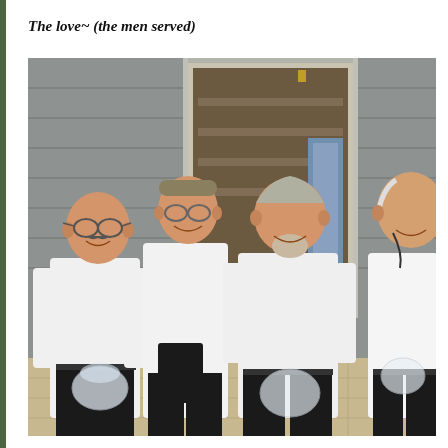The love~ (the men served)
[Figure (photo): Four men in white shirts standing together indoors, smiling at the camera. Two of the men in the front are holding clear glass pitchers or bowls. One man in the middle is holding a black cloth. They are standing in front of a gray cinder-block wall with a doorway visible in the background.]